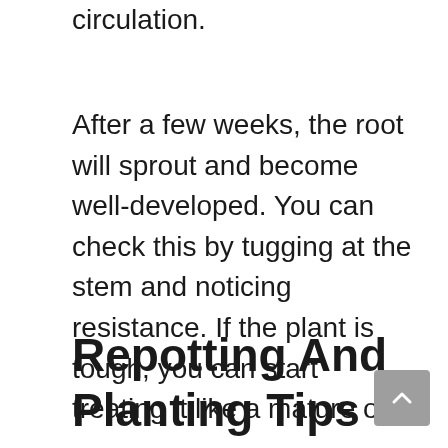circulation.
After a few weeks, the root will sprout and become well-developed. You can check this by tugging at the stem and noticing resistance. If the plant is tough, you can start treating it like a mature one.
Repotting And Planting Tips